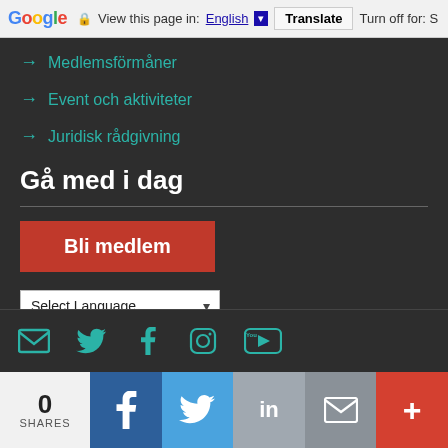Google  View this page in: English  Translate  Turn off for: S
→ Medlemsförmåner
→ Event och aktiviteter
→ Juridisk rådgivning
Gå med i dag
[Figure (other): Red call-to-action button labeled 'Bli medlem']
[Figure (other): Language selector dropdown reading 'Select Language' with Google Translate branding below]
[Figure (other): Social media icons row: email, twitter, facebook, instagram, youtube in teal color]
[Figure (other): Share bar at bottom: 0 SHARES, Facebook, Twitter, LinkedIn, email, plus buttons]